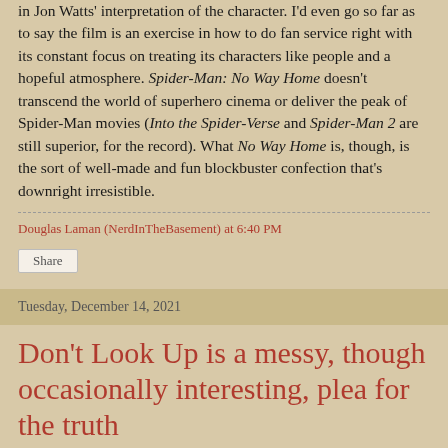in Jon Watts' interpretation of the character. I'd even go so far as to say the film is an exercise in how to do fan service right with its constant focus on treating its characters like people and a hopeful atmosphere. Spider-Man: No Way Home doesn't transcend the world of superhero cinema or deliver the peak of Spider-Man movies (Into the Spider-Verse and Spider-Man 2 are still superior, for the record). What No Way Home is, though, is the sort of well-made and fun blockbuster confection that's downright irresistible.
Douglas Laman (NerdInTheBasement) at 6:40 PM
Share
Tuesday, December 14, 2021
Don't Look Up is a messy, though occasionally interesting, plea for the truth
[Figure (photo): Image thumbnail at bottom of page]